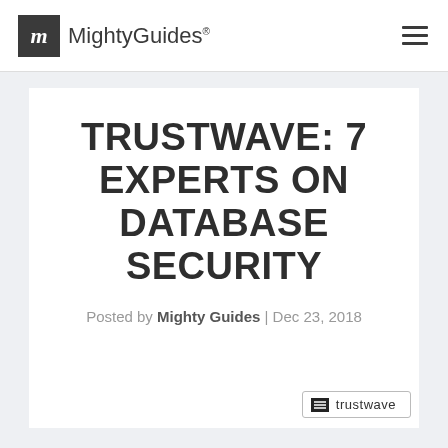Mighty Guides®
TRUSTWAVE: 7 EXPERTS ON DATABASE SECURITY
Posted by Mighty Guides | Dec 23, 2018
[Figure (logo): Trustwave logo badge partially visible at bottom right of card]